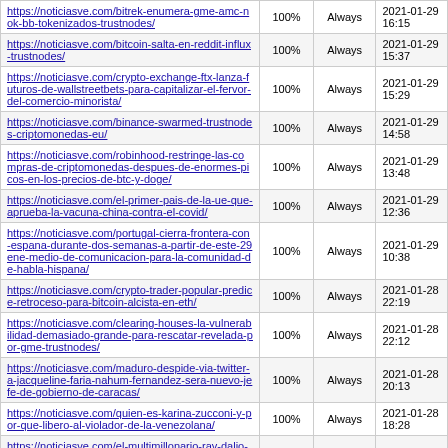| URL | % | Change Frequency | Last Modified |
| --- | --- | --- | --- |
| https://noticiasve.com/bitrek-enumera-gme-amc-nok-bb-tokenizados-trustnodes/ | 100% | Always | 2021-01-29 16:15 |
| https://noticiasve.com/bitcoin-salta-en-reddit-influx-trustnodes/ | 100% | Always | 2021-01-29 15:37 |
| https://noticiasve.com/crypto-exchange-ftx-lanza-futuros-de-wallstreetbets-para-capitalizar-el-fervor-del-comercio-minorista/ | 100% | Always | 2021-01-29 15:29 |
| https://noticiasve.com/binance-swarmed-trustnodes-criptomonedas-eu/ | 100% | Always | 2021-01-29 14:58 |
| https://noticiasve.com/robinhood-restringe-las-compras-de-criptomonedas-despues-de-enormes-picos-en-los-precios-de-btc-y-doge/ | 100% | Always | 2021-01-29 13:48 |
| https://noticiasve.com/el-primer-pais-de-la-ue-que-aprueba-la-vacuna-china-contra-el-covid/ | 100% | Always | 2021-01-29 12:36 |
| https://noticiasve.com/portugal-cierra-frontera-con-espana-durante-dos-semanas-a-partir-de-este-29ene-medio-de-comunicacion-para-la-comunidad-de-habla-hispana/ | 100% | Always | 2021-01-29 10:38 |
| https://noticiasve.com/crypto-trader-popular-predice-retroceso-para-bitcoin-alcista-en-eth/ | 100% | Always | 2021-01-28 22:19 |
| https://noticiasve.com/clearing-houses-la-vulnerabilidad-demasiado-grande-para-rescatar-revelada-por-gme-trustnodes/ | 100% | Always | 2021-01-28 22:12 |
| https://noticiasve.com/maduro-despide-via-twitter-a-jacqueline-faria-nahum-fernandez-sera-nuevo-jefe-de-gobierno-de-caracas/ | 100% | Always | 2021-01-28 20:13 |
| https://noticiasve.com/quien-es-karina-zucconi-y-por-que-libero-al-violador-de-la-venezolana/ | 100% | Always | 2021-01-28 18:28 |
| https://noticiasve.com/el-multimillonario-ray-dalio-da-un-giro-de-180-grados-a-bitcoin-y-lo-llama-un-infierno-de-una-... | 100% | Always | 2021-01-28 17:35 |